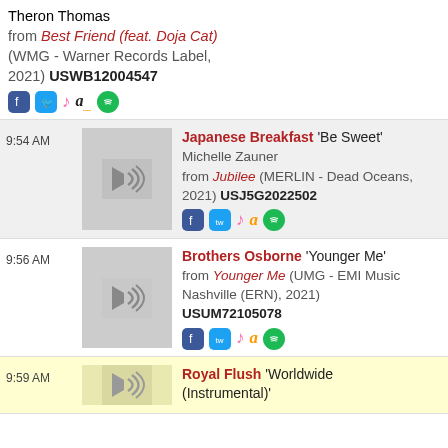Theron Thomas from Best Friend (feat. Doja Cat) (WMG - Warner Records Label, 2021) USWB12004547
9:54 AM | Japanese Breakfast 'Be Sweet' Michelle Zauner from Jubilee (MERLIN - Dead Oceans, 2021) USJ5G2022502
9:56 AM | Brothers Osborne 'Younger Me' from Younger Me (UMG - EMI Music Nashville (ERN), 2021) USUM72105078
9:59 AM | Royal Flush 'Worldwide (Instrumental)'